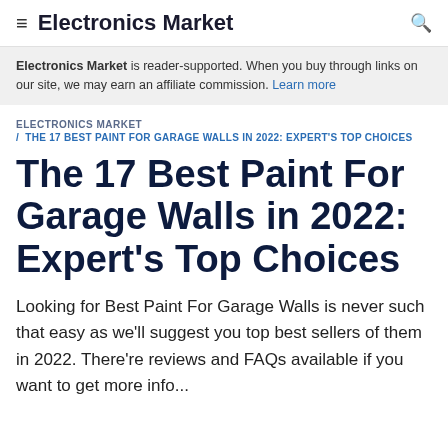Electronics Market
Electronics Market is reader-supported. When you buy through links on our site, we may earn an affiliate commission. Learn more
ELECTRONICS MARKET / THE 17 BEST PAINT FOR GARAGE WALLS IN 2022: EXPERT'S TOP CHOICES
The 17 Best Paint For Garage Walls in 2022: Expert's Top Choices
Looking for Best Paint For Garage Walls is never such that easy as we'll suggest you top best sellers of them in 2022. There're reviews and FAQs available if you want to get more info...